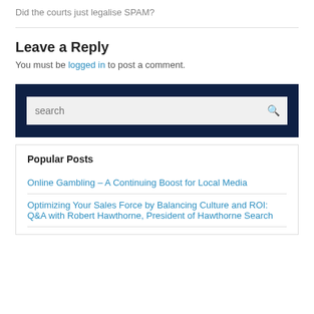Did the courts just legalise SPAM?
Leave a Reply
You must be logged in to post a comment.
[Figure (other): Search box with dark navy blue background and light gray input field with search icon]
Popular Posts
Online Gambling – A Continuing Boost for Local Media
Optimizing Your Sales Force by Balancing Culture and ROI: Q&A with Robert Hawthorne, President of Hawthorne Search